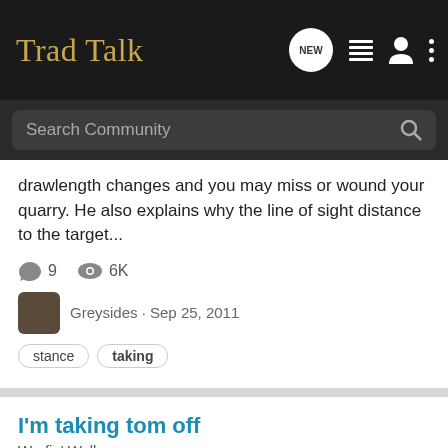Trad Talk
drawlength changes and you may miss or wound your quarry. He also explains why the line of sight distance to the target...
9  6K
Greysides · Sep 25, 2011
stance
taking
I'm taking tom off
Warfin' Wall
Tomorrow off and sending risers out. Thank the Father that Joyce is better! Tom I'm sending Nikko's, Rob's,Jonathans, and Ja demoyas. I'm gonna build on some of the others I have in the shop which are; Juliasdad, Steve, long and